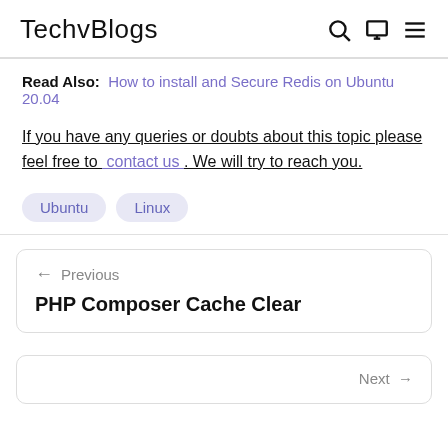TechvBlogs
Read Also: How to install and Secure Redis on Ubuntu 20.04
If you have any queries or doubts about this topic please feel free to contact us . We will try to reach you.
Ubuntu  Linux
← Previous
PHP Composer Cache Clear
Next →